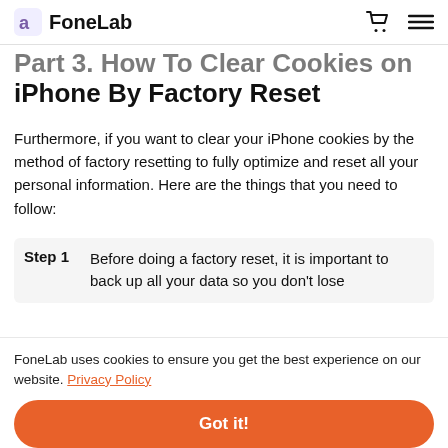FoneLab
Part 3. How To Clear Cookies on iPhone By Factory Reset
Furthermore, if you want to clear your iPhone cookies by the method of factory resetting to fully optimize and reset all your personal information. Here are the things that you need to follow:
Step 1  Before doing a factory reset, it is important to back up all your data so you don't lose
FoneLab uses cookies to ensure you get the best experience on our website. Privacy Policy
Got it!